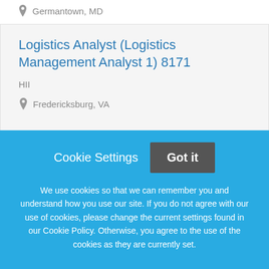Germantown, MD
Logistics Analyst (Logistics Management Analyst 1) 8171
HII
Fredericksburg, VA
Entry Level Advertising Account Manager
Cookie Settings
Got it
We use cookies so that we can remember you and understand how you use our site. If you do not agree with our use of cookies, please change the current settings found in our Cookie Policy. Otherwise, you agree to the use of the cookies as they are currently set.